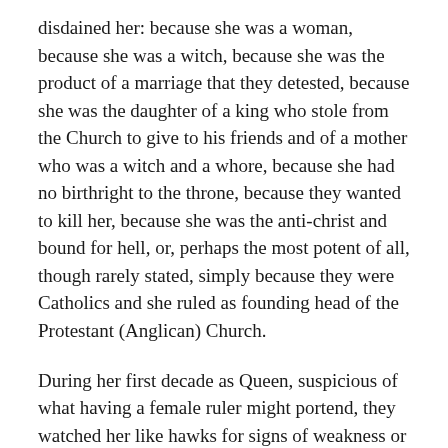disdained her: because she was a woman, because she was a witch, because she was the product of a marriage that they detested, because she was the daughter of a king who stole from the Church to give to his friends and of a mother who was a witch and a whore, because she had no birthright to the throne, because they wanted to kill her, because she was the anti-christ and bound for hell, or, perhaps the most potent of all, though rarely stated, simply because they were Catholics and she ruled as founding head of the Protestant (Anglican) Church.
During her first decade as Queen, suspicious of what having a female ruler might portend, they watched her like hawks for signs of weakness or wickedness, traits many were afraid she could not avoid considering what her parents and siblings were like. Thus when the proto-Presbyterian John Knox, for many the voice of the Reformation, whose First Blast of the Trumpet Against